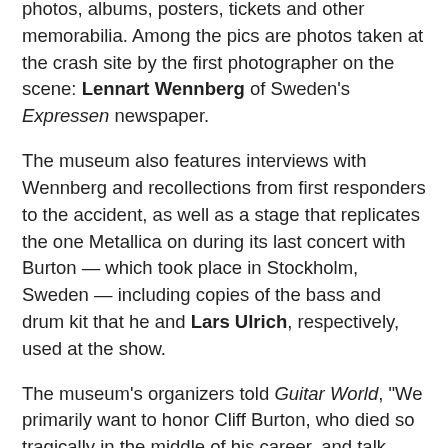photos, albums, posters, tickets and other memorabilia. Among the pics are photos taken at the crash site by the first photographer on the scene: Lennart Wennberg of Sweden's Expressen newspaper.
The museum also features interviews with Wennberg and recollections from first responders to the accident, as well as a stage that replicates the one Metallica on during its last concert with Burton — which took place in Stockholm, Sweden — including copies of the bass and drum kit that he and Lars Ulrich, respectively, used at the show.
The museum's organizers told Guitar World, "We primarily want to honor Cliff Burton, who died so tragically in the middle of his career, and talk about who he was as a person and a musician."
An official fan Facebook page dedicated to the museum has posted a video of the opening ceremony for the attraction, as well as photos from the event.